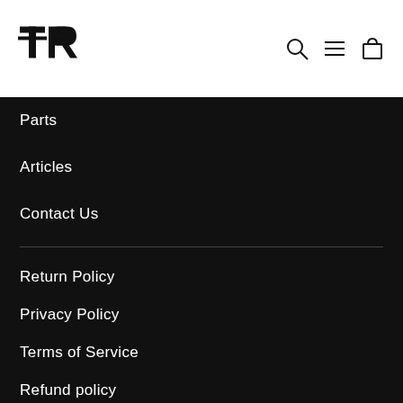[Figure (logo): TR logo - stylized TR monogram in black]
Parts
Articles
Contact Us
Return Policy
Privacy Policy
Terms of Service
Refund policy
Stockists